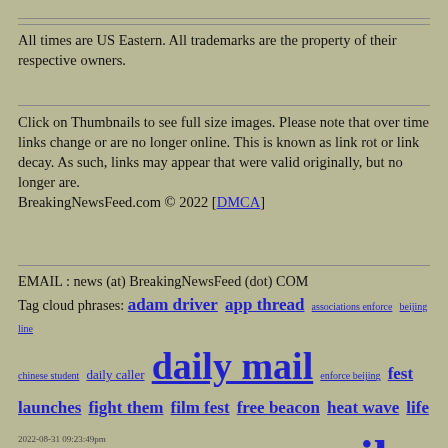All times are US Eastern. All trademarks are the property of their respective owners.
Click on Thumbnails to see full size images. Please note that over time links change or are no longer online. This is known as link rot or link decay. As such, links may appear that were valid originally, but no longer are. BreakingNewsFeed.com © 2022 [DMCA]
EMAIL : news (at) BreakingNewsFeed (dot) COM
Tag cloud phrases: adam driver app thread associations enforce beijing line chinese student daily caller daily mail enforce beijing fest launches fight them film fest free beacon heat wave life expectancy line american los angeles mail online online california reader app sailer unz sam hyde steve sailer student associations study finds sydney sweeney thread reader trump documents unz review venice film washington free
2022-08-31 09:23:49pm